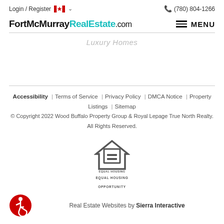Login / Register  (780) 804-1266
FortMcMurrayRealEstate.com
Luxury Homes
Accessibility | Terms of Service | Privacy Policy | DMCA Notice | Property Listings | Sitemap © Copyright 2022 Wood Buffalo Property Group & Royal Lepage True North Realty. All Rights Reserved.
[Figure (logo): Equal Housing Opportunity logo - house outline with equal sign]
[Figure (logo): Accessibility icon - red circle with wheelchair user symbol]
Real Estate Websites by Sierra Interactive